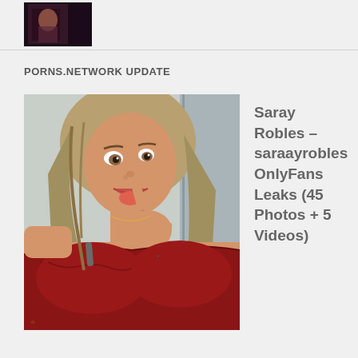[Figure (photo): Small thumbnail image at top, dark background with partial figure]
PORNS.NETWORK UPDATE
[Figure (photo): Photo of a young woman with long wavy hair, wearing a red lace bra, holding her finger near her mouth with tongue out, tattoos visible on fingers and chest]
Saray Robles – saraayrobles OnlyFans Leaks (45 Photos + 5 Videos)